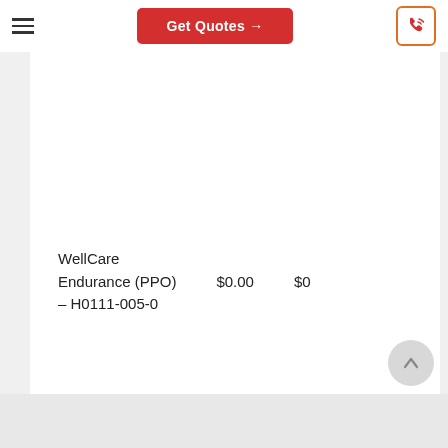Get Quotes →
WellCare Endurance (PPO) – H0111-005-0    $0.00    $0